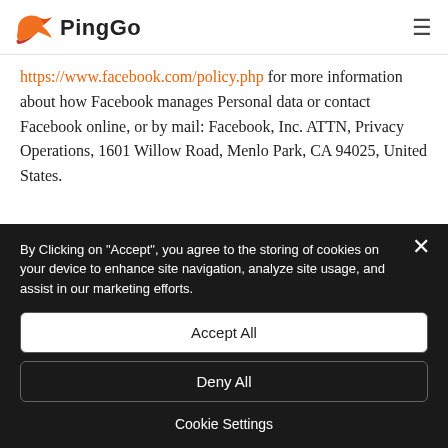PingGo
https://www.facebook.com/policy.php for more information about how Facebook manages Personal data or contact Facebook online, or by mail: Facebook, Inc. ATTN, Privacy Operations, 1601 Willow Road, Menlo Park, CA 94025, United States.
By Clicking on "Accept", you agree to the storing of cookies on your device to enhance site navigation, analyze site usage, and assist in our marketing efforts.
Accept All
Deny All
Cookie Settings